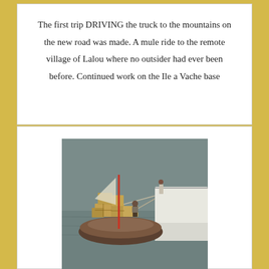The first trip DRIVING the truck to the mountains on the new road was made. A mule ride to the remote village of Lalou where no outsider had ever been before. Continued work on the Ile a Vache base
[Figure (photo): A small wooden boat loaded with cardboard boxes near a white sailboat on water, with a person standing on the boat.]
AUG. - SEPT, 2013